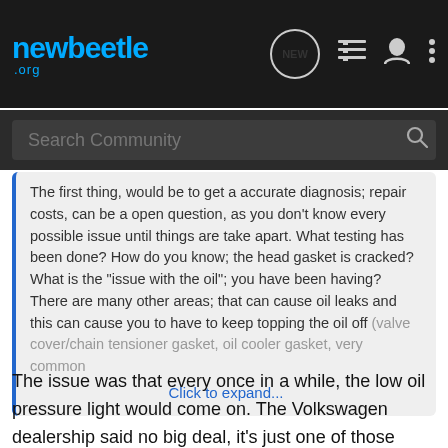newbeetle.org
Search Community
The first thing, would be to get a accurate diagnosis; repair costs, can be a open question, as you don't know every possible issue until things are take apart. What testing has been done? How do you know; the head gasket is cracked? What is the "issue with the oil"; you have been having? There are many other areas; that can cause oil leaks and this can cause you to have to keep topping the oil off (valve cover/chain tensioner gasket, oil cooler gasket, very common
Click to expand...
The issue was that every once in a while, the low oil pressure light would come on. The Volkswagen dealership said no big deal, it's just one of those things, only worry if it stays on, but then when I was going in to get an oil change I asked my local shop to take a look at it and there was coolant and oil running down the back of the engine. The crack was what was causing me to lose oil pressure. Right now, they're pulling the head, and